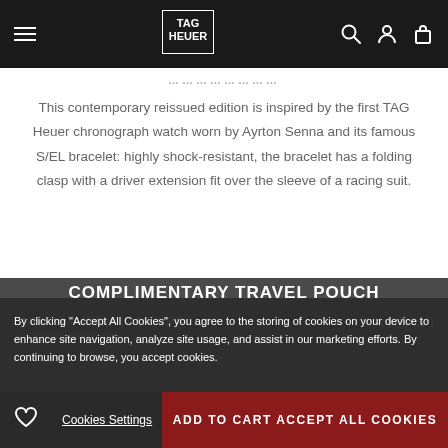TAG Heuer navigation bar with menu, logo, search, account, and cart icons
STRIKEAWAY AND ELEGANCE (partial, cut off)
This contemporary reissued edition is inspired by the first TAG Heuer chronograph watch worn by Ayrton Senna and its famous S/EL bracelet: highly shock-resistant, the bracelet has a folding clasp with a driver extension fit over the sleeve of a racing suit.
COMPLIMENTARY TRAVEL POUCH
TAG HEUER FORMULA 1 X SENNA
Automatic Chronograph
KM 6,550.00
By clicking "Accept All Cookies", you agree to the storing of cookies on your device to enhance site navigation, analyze site usage, and assist in our marketing efforts. By continuing to browse, you accept cookies.
Cookies Settings
Accept All Cookies
ADD TO CART